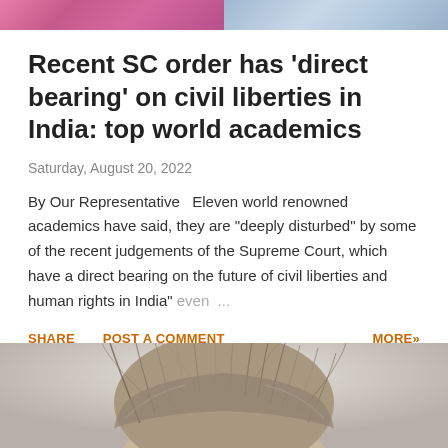[Figure (photo): Top image showing two people partially visible — left side shows colorful clothing (pink/purple), right side shows a plaid/checkered fabric]
Recent SC order has 'direct bearing' on civil liberties in India: top world academics
Saturday, August 20, 2022
By Our Representative  Eleven world renowned academics have said, they are "deeply disturbed" by some of the recent judgements of the Supreme Court, which have a direct bearing on the future of civil liberties and human rights in India" even ...
SHARE   POST A COMMENT   MORE»
[Figure (photo): Bottom portion of page showing the top of a person's head with messy/wild gray-white hair against a light gray background]